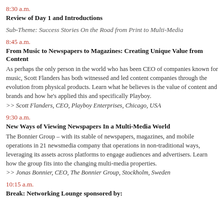8:30 a.m.
Review of Day 1 and Introductions
Sub-Theme: Success Stories On the Road from Print to Multi-Media
8:45 a.m.
From Music to Newspapers to Magazines: Creating Unique Value from Content
As perhaps the only person in the world who has been CEO of companies known for music, Scott Flanders has both witnessed and led content companies through the evolution from physical products. Learn what he believes is the value of content and brands and how he’s applied this and specifically Playboy.
>> Scott Flanders, CEO, Playboy Enterprises, Chicago, USA
9:30 a.m.
New Ways of Viewing Newspapers In a Multi-Media World
The Bonnier Group – with its stable of newspapers, magazines, and mobile operations in 21 newsmedia company that operations in non-traditional ways, leveraging its assets across platforms to engage audiences and advertisers. Learn how the group fits into the changing multi-media properties.
>> Jonas Bonnier, CEO, The Bonnier Group, Stockholm, Sweden
10:15 a.m.
Break: Networking Lounge sponsored by: